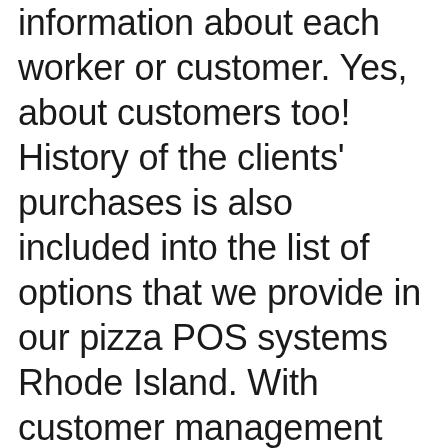information about each worker or customer. Yes, about customers too! History of the clients' purchases is also included into the list of options that we provide in our pizza POS systems Rhode Island. With customer management option of our pizza point of sale, you are able to receive all evidence of transactions and know personal info of each customer right after he pays with his credit card or even from his tablet PC. You've got it right: all customers can pay from their tablets or even smartphones. After making an order, clients leave their personal info, which is